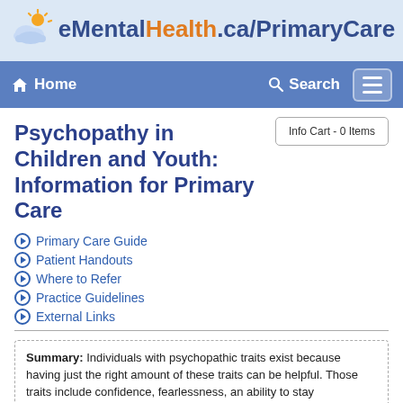eMentalHealth.ca/PrimaryCare
Psychopathy in Children and Youth: Information for Primary Care
Primary Care Guide
Patient Handouts
Where to Refer
Practice Guidelines
External Links
Summary: Individuals with psychopathic traits exist because having just the right amount of these traits can be helpful. Those traits include confidence, fearlessness, an ability to stay...